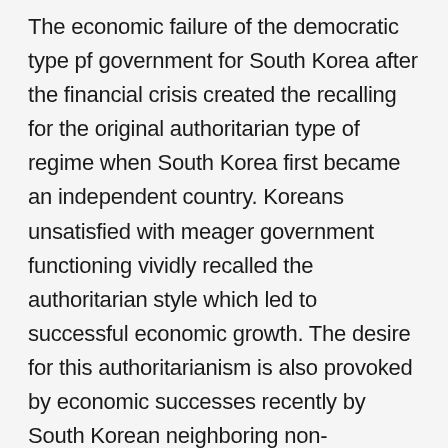The economic failure of the democratic type pf government for South Korea after the financial crisis created the recalling for the original authoritarian type of regime when South Korea first became an independent country. Koreans unsatisfied with meager government functioning vividly recalled the authoritarian style which led to successful economic growth. The desire for this authoritarianism is also provoked by economic successes recently by South Korean neighboring non-democratic Asian countries such as Malaysia and Singapore and China's economic flexibility and elasticity in the moment of an intricate and quickly globalizing world economy has caused worries in South Korean people. As a result,